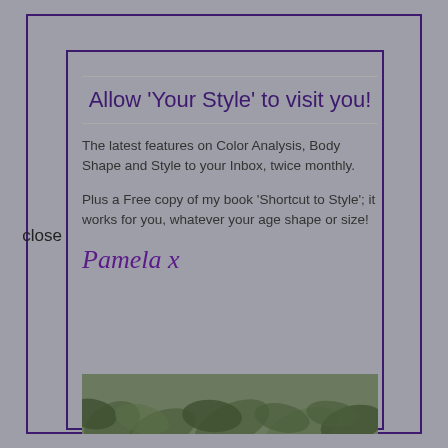close
Allow 'Your Style' to visit you!
The latest features on Color Analysis, Body Shape and Style to your Inbox, twice monthly.
Plus a Free copy of my book 'Shortcut to Style'; it works for you, whatever your age shape or size!
Pamela x
[Figure (illustration): Partial bottom image showing green leaf/plant pattern, cropped at bottom of page]